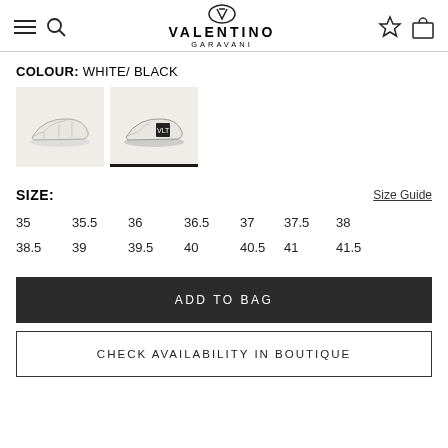VALENTINO GARAVANI
COLOUR: WHITE/ BLACK
[Figure (photo): Two thumbnail images of white/black Valentino sneakers on light background. Second thumbnail is selected (underline indicator).]
SIZE:   Size Guide
35  35.5  36  36.5  37  37.5  38
38.5  39  39.5  40  40.5  41  41.5
ADD TO BAG
CHECK AVAILABILITY IN BOUTIQUE